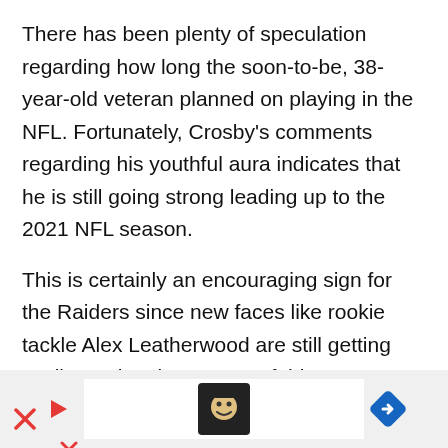There has been plenty of speculation regarding how long the soon-to-be, 38-year-old veteran planned on playing in the NFL. Fortunately, Crosby's comments regarding his youthful aura indicates that he is still going strong leading up to the 2021 NFL season.
This is certainly an encouraging sign for the Raiders since new faces like rookie tackle Alex Leatherwood are still getting acclimated to the system. If this team hopes to emerge as a bona fide playoff contender next season, they cannot afford to suffer a significant drop-off up front.
[Figure (other): Advertisement banner with a game/app icon showing a cartoon character, play button on left, and blue navigation arrow on right. Left side has a red X mark.]